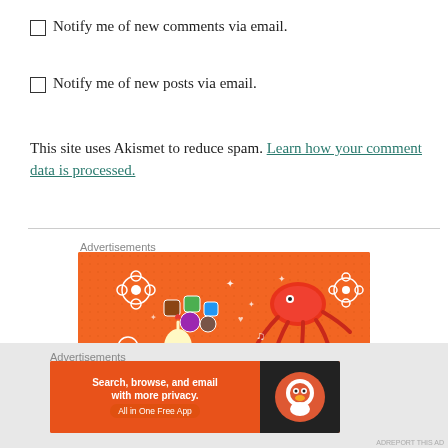Notify me of new comments via email.
Notify me of new posts via email.
This site uses Akismet to reduce spam. Learn how your comment data is processed.
Advertisements
[Figure (illustration): Orange advertisement banner with illustrated cartoon characters including dice, a spider/octopus, flowers, crowns, music notes, a hand gesture, and a skull on a dotted orange background.]
Advertisements
[Figure (screenshot): DuckDuckGo advertisement: 'Search, browse, and email with more privacy. All in One Free App' with DuckDuckGo logo on dark background.]